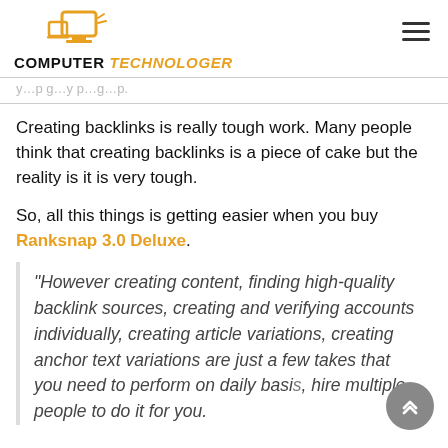COMPUTER TECHNOLOGER
Creating backlinks is really tough work. Many people think that creating backlinks is a piece of cake but the reality is it is very tough.
So, all this things is getting easier when you buy Ranksnap 3.0 Deluxe.
“However creating content, finding high-quality backlink sources, creating and verifying accounts individually, creating article variations, creating anchor text variations are just a few takes that you need to perform on daily basis, hire multiple people to do it for you.